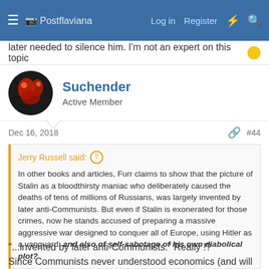Postflaviana  Log in  Register
later needed to silence him. I'm not an expert on this topic 🙂
Suchender
Active Member
Dec 16, 2018  #44
Jerry Russell said: ↑
In other books and articles, Furr claims to show that the picture of Stalin as a bloodthirsty maniac who deliberately caused the deaths of tens of millions of Russians, was largely invented by later anti-Communists. But even if Stalin is exonerated for those crimes, now he stands accused of preparing a massive aggressive war designed to conquer all of Europe, using Hitler as a vanguard; and also of self-sabotage of his own diabolical plot?
"...invented by later anti-Communists." Really !?
Since Communists never understood economics (and will never understand), they killed millions of peasants.